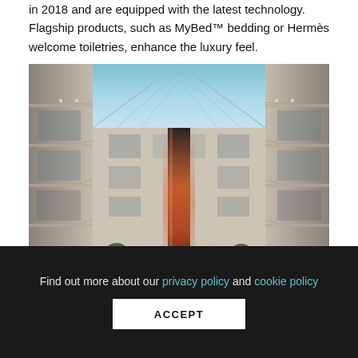in 2018 and are equipped with the latest technology. Flagship products, such as MyBed™ bedding or Hermès welcome toiletries, enhance the luxury feel.
[Figure (photo): Interior of a luxury hotel atrium with a large glass skylight ceiling, multiple gallery floors, a tall dark column/pillar in the center, a lounge/seating area, restaurant tables on both sides, and marble flooring. Watermark reads 'THE GLASSHOUSE © 2018'.]
Find out more about our privacy policy and cookie policy
ACCEPT